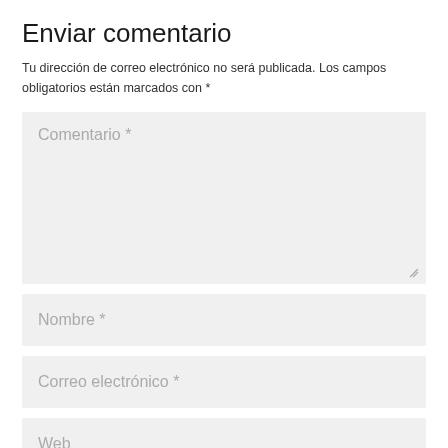Enviar comentario
Tu dirección de correo electrónico no será publicada. Los campos obligatorios están marcados con *
[Figure (screenshot): Comment form textarea with placeholder text 'Comentario *']
[Figure (screenshot): Text input field with placeholder text 'Nombre *']
[Figure (screenshot): Text input field with placeholder text 'Correo electrónico *']
[Figure (screenshot): Text input field with placeholder text 'Web']